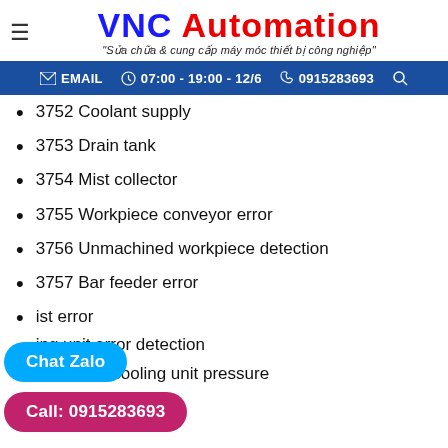VNC Automation – "Sửa chữa & cung cấp máy móc thiết bị công nghiệp"
EMAIL  07:00 - 19:00 - 12/6  0915283693
3752 Coolant supply
3753 Drain tank
3754 Mist collector
3755 Workpiece conveyor error
3756 Unmachined workpiece detection
3757 Bar feeder error
3758 [Bar feeder] ist error
3759 Fan cooling unit error detection
3760 Fan cooling unit pressure